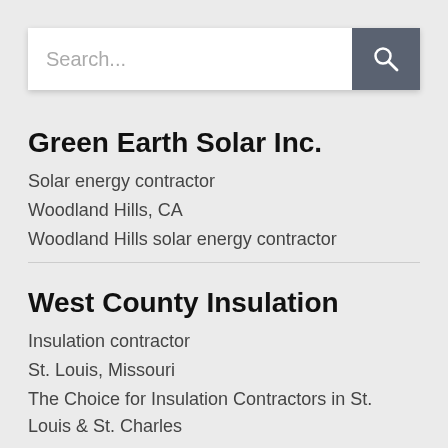[Figure (screenshot): Search bar with placeholder text 'Search...' and a dark grey search button with magnifying glass icon]
Green Earth Solar Inc.
Solar energy contractor
Woodland Hills, CA
Woodland Hills solar energy contractor
West County Insulation
Insulation contractor
St. Louis, Missouri
The Choice for Insulation Contractors in St. Louis & St. Charles